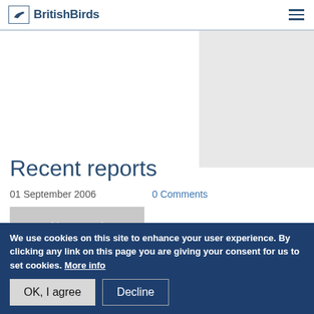BritishBirds
[Figure (photo): Placeholder image area, light grey rectangle in upper right of page]
Recent reports
01 September 2006    0 Comments
News and comment
This summary of unchecked reports covers mid July to mid August 2006...Read More
We use cookies on this site to enhance your user experience. By clicking any link on this page you are giving your consent for us to set cookies. More info
OK, I agree    Decline